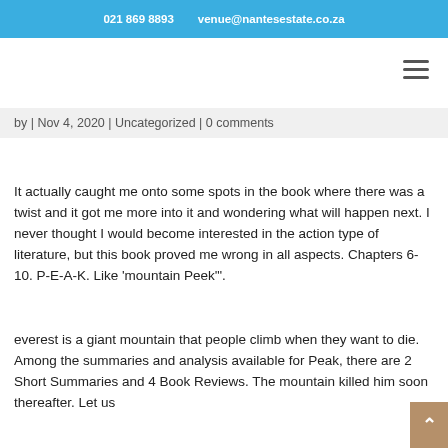021 869 8893   venue@nantesestate.co.za
by | Nov 4, 2020 | Uncategorized | 0 comments
It actually caught me onto some spots in the book where there was a twist and it got me more into it and wondering what will happen next. I never thought I would become interested in the action type of literature, but this book proved me wrong in all aspects. Chapters 6-10. P-E-A-K. Like 'mountain Peek'".
everest is a giant mountain that people climb when they want to die. Among the summaries and analysis available for Peak, there are 2 Short Summaries and 4 Book Reviews. The mountain killed him soon thereafter. Let us